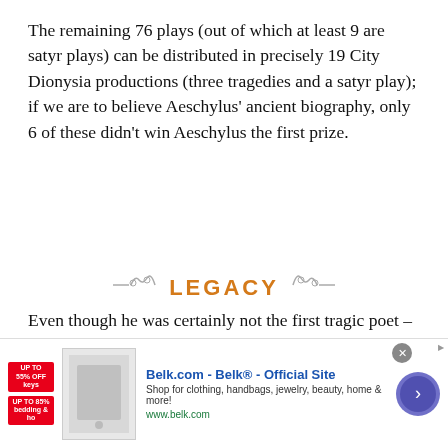The remaining 76 plays (out of which at least 9 are satyr plays) can be distributed in precisely 19 City Dionysia productions (three tragedies and a satyr play); if we are to believe Aeschylus' ancient biography, only 6 of these didn't win Aeschylus the first prize.
LEGACY
Even though he was certainly not the first tragic poet – we know that his Persians was modeled after the very successful historical plays of his older contemporary, Phrynichus – Aeschylus is
[Figure (other): Advertisement banner for Belk.com - Belk® - Official Site. Shop for clothing, handbags, jewelry, beauty, home & more! www.belk.com]